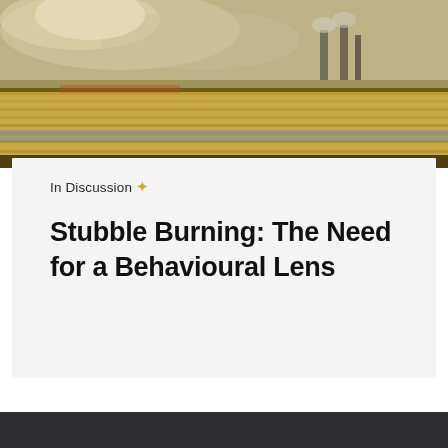[Figure (photo): Aerial or ground-level photo of agricultural fields with smoke/haze rising and industrial structures in the background, depicting stubble burning scene.]
In Discussion ✦
Stubble Burning: The Need for a Behavioural Lens